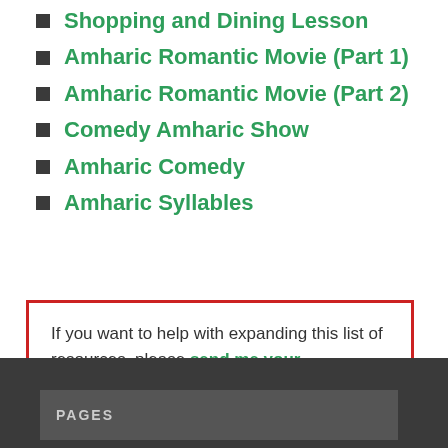Shopping and Dining Lesson
Amharic Romantic Movie (Part 1)
Amharic Romantic Movie (Part 2)
Comedy Amharic Show
Amharic Comedy
Amharic Syllables
If you want to help with expanding this list of resources, please send me your suggestions here.
PAGES